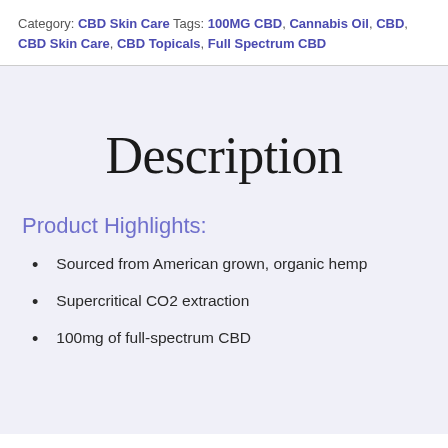Category: CBD Skin Care Tags: 100MG CBD, Cannabis Oil, CBD, CBD Skin Care, CBD Topicals, Full Spectrum CBD
Description
Product Highlights:
Sourced from American grown, organic hemp
Supercritical CO2 extraction
100mg of full-spectrum CBD